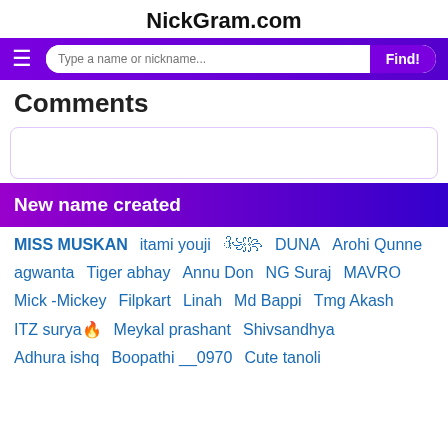NickGram.com
Comments
New name created
MISS MUSKAN   itami youji   ᭄꧁꧂   DUNA   Arohi Qunne
agwanta   Tiger abhay   Annu Don   NG Suraj   MAVRO
Mick -Mickey   Filpkart   Linah   Md Bappi   Tmg Akash
ITZ surya🔥   Meykal prashant   Shivsandhya
Adhura ishq   Boopathi __0970   Cute tanoli